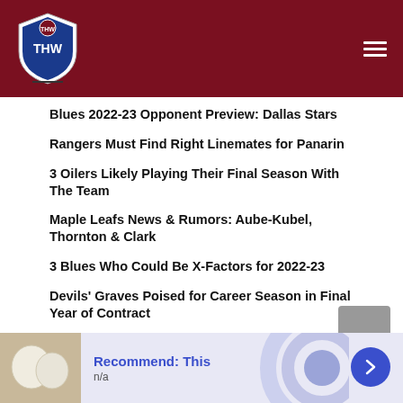THW - The Hockey Writers
Blues 2022-23 Opponent Preview: Dallas Stars
Rangers Must Find Right Linemates for Panarin
3 Oilers Likely Playing Their Final Season With The Team
Maple Leafs News & Rumors: Aube-Kubel, Thornton & Clark
3 Blues Who Could Be X-Factors for 2022-23
Devils' Graves Poised for Career Season in Final Year of Contract
3 Biggest Trades in Red Wings History
Nathan MacKinnon's First 600 Games Sets Him up to Be an All-Time Great
The NHL's Best Farm Systems Ranked – 2022-23 Preseason Update
[Figure (other): Advertisement banner: Recommend: This, n/a, with arrow button]